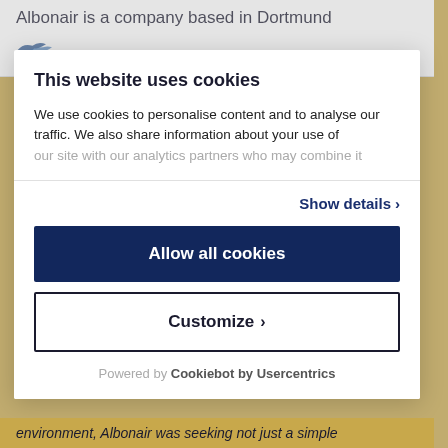Albonair is a company based in Dortmund
[Figure (logo): Cargo partner logo with stylized bird/airplane icon]
This website uses cookies
We use cookies to personalise content and to analyse our traffic. We also share information about your use of our site with our analytics partners who may combine it
Show details >
Allow all cookies
Customize >
Powered by Cookiebot by Usercentrics
environment, Albonair was seeking not just a simple